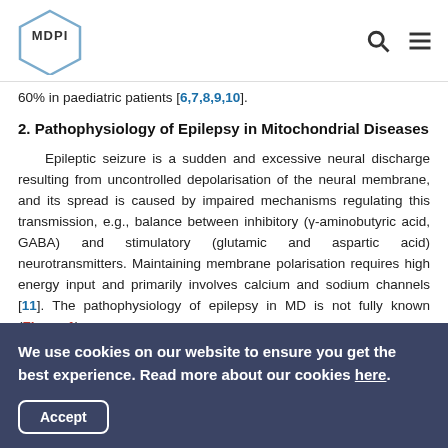MDPI
60% in paediatric patients [6,7,8,9,10].
2. Pathophysiology of Epilepsy in Mitochondrial Diseases
Epileptic seizure is a sudden and excessive neural discharge resulting from uncontrolled depolarisation of the neural membrane, and its spread is caused by impaired mechanisms regulating this transmission, e.g., balance between inhibitory (γ-aminobutyric acid, GABA) and stimulatory (glutamic and aspartic acid) neurotransmitters. Maintaining membrane polarisation requires high energy input and primarily involves calcium and sodium channels [11]. The pathophysiology of epilepsy in MD is not fully known (Figure 1).
We use cookies on our website to ensure you get the best experience. Read more about our cookies here.
Accept